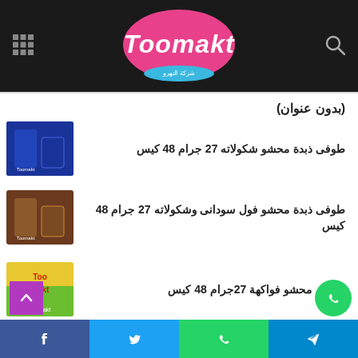Toomakt
(بدون عنوان)
طوفى ذبدة محشو شكولاته 27 جرام 48 كيس
طوفى ذبدة محشو فول سودانى وشكولاته 27 جرام 48 كيس
طوفى محشو فواكهة 27جرام 48 كيس
بونبون نسكافيه محشو كاتشينو 29. جرام48كيس